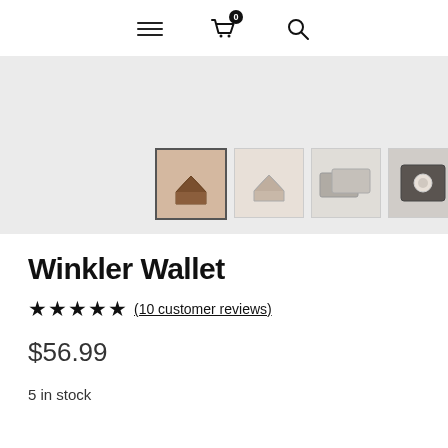Navigation bar with hamburger menu, cart (0 items), and search icons
[Figure (photo): Product image gallery showing Winkler Wallet from multiple angles: brown leather wallet folded, light-colored wallet, flat cards view, and wallet with elastic band]
Winkler Wallet
★★★★★ (10 customer reviews)
$56.99
5 in stock